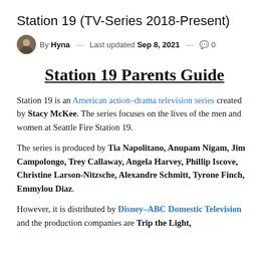Station 19 (TV-Series 2018-Present)
By Hyna — Last updated Sep 8, 2021 — 0
Station 19 Parents Guide
Station 19 is an American action–drama television series created by Stacy McKee. The series focuses on the lives of the men and women at Seattle Fire Station 19.
The series is produced by Tia Napolitano, Anupam Nigam, Jim Campolongo, Trey Callaway, Angela Harvey, Phillip Iscove, Christine Larson-Nitzsche, Alexandre Schmitt, Tyrone Finch, Emmylou Diaz.
However, it is distributed by Disney–ABC Domestic Television and the production companies are Trip the Light,